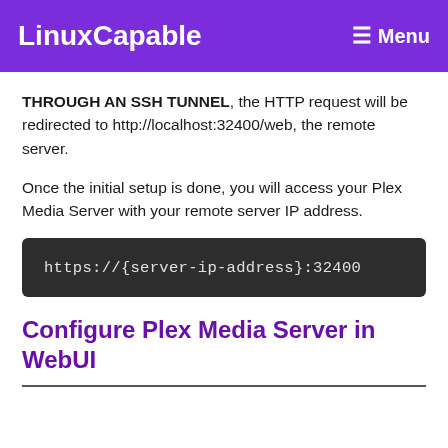LinuxCapable   ☰ Menu
THROUGH AN SSH TUNNEL, the HTTP request will be redirected to http://localhost:32400/web, the remote server.
Once the initial setup is done, you will access your Plex Media Server with your remote server IP address.
https://{server-ip-address}:32400
Configure Plex Media Server in WebUI